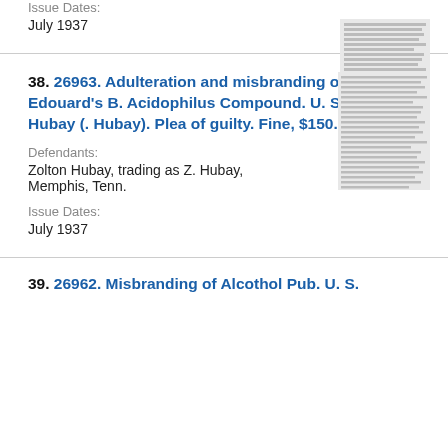Issue Dates:
July 1937
38. 26963. Adulteration and misbranding of M. Edouard's B. Acidophilus Compound. U. S. v. Zoltan Hubay (. Hubay). Plea of guilty. Fine, $150.
Defendants:
Zolton Hubay, trading as Z. Hubay, Memphis, Tenn.
Issue Dates:
July 1937
[Figure (other): Thumbnail image of a document page]
39. 26962. Misbranding of Alcothol Pub. U. S.